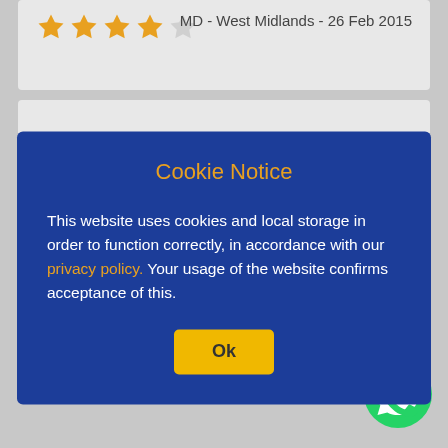[Figure (screenshot): Star rating widget showing 3.5 out of 5 stars in gold/grey]
MD - West Midlands - 26 Feb 2015
spot on
[Figure (screenshot): Star rating widget showing 5 out of 5 stars in gold]
USER9778 - 21 Jun 2010
Cookie Notice
This website uses cookies and local storage in order to function correctly, in accordance with our privacy policy. Your usage of the website confirms acceptance of this.
Ok